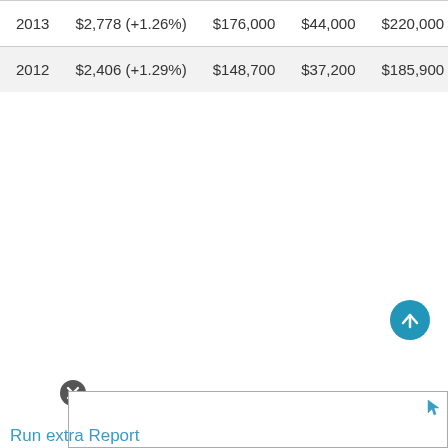| 2013 | $2,778 (+1.26%) | $176,000 | $44,000 | $220,000 |
| 2012 | $2,406 (+1.29%) | $148,700 | $37,200 | $185,900 |
Run extra Report